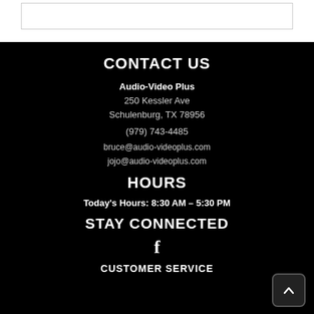CONTACT US
Audio-Video Plus
250 Kessler Ave
Schulenburg, TX 78956
(979) 743-4485
bruce@audio-videoplus.com
jojo@audio-videoplus.com
HOURS
Today's Hours: 8:30 AM – 5:30 PM
STAY CONNECTED
[Figure (illustration): Facebook icon (letter f)]
CUSTOMER SERVICE